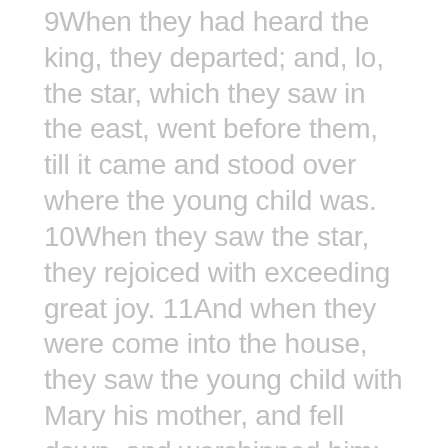9When they had heard the king, they departed; and, lo, the star, which they saw in the east, went before them, till it came and stood over where the young child was. 10When they saw the star, they rejoiced with exceeding great joy. 11And when they were come into the house, they saw the young child with Mary his mother, and fell down, and worshipped him: and when they had opened their treasures, they presented unto him gifts; gold, and frankincense, and myrrh. 12And being warned of God in a dream that they should not return to Herod, they departed into their own country another way.